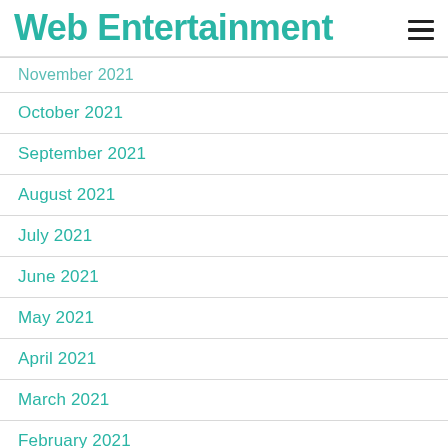Web Entertainment
November 2021
October 2021
September 2021
August 2021
July 2021
June 2021
May 2021
April 2021
March 2021
February 2021
January 2021